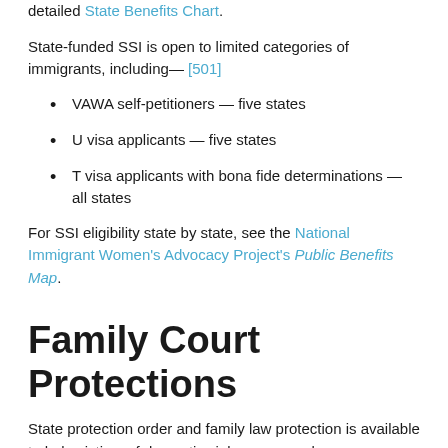detailed State Benefits Chart.
State-funded SSI is open to limited categories of immigrants, including— [501]
VAWA self-petitioners — five states
U visa applicants — five states
T visa applicants with bona fide determinations — all states
For SSI eligibility state by state, see the National Immigrant Women's Advocacy Project's Public Benefits Map.
Family Court Protections
State protection order and family law protection is available to help victims of domestic violence, sexual